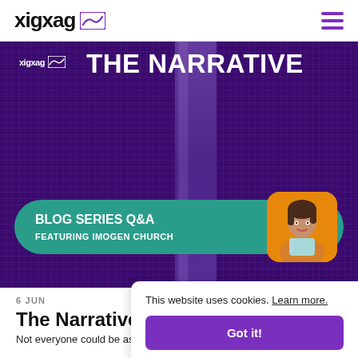xigxag [logo icon] [hamburger menu]
[Figure (illustration): xigxag 'The Narrative' blog series Q&A hero image featuring a purple microphone background with teal card overlay showing 'BLOG SERIES Q&A FEATURING IMOGEN CHURCH' and a photo of Imogen Church on an orange background]
6 JUN
The Narrative
Not everyone could be as excited about this...
This website uses cookies. Learn more.
Got it!